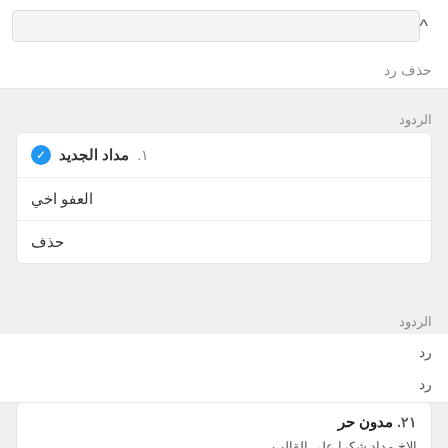حذف رد
الردود
١. مداد الجديد (checked) • العفو اخي • حذف
الردود
رد
رد
٢١. مدون حر
الاخ مداد شكرا على القالب فقط هناك اشكالية حول اعلان فوق التدوينة واعلان اسفل التدوينة ..